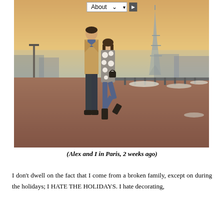[Figure (photo): A couple standing close together near the Eiffel Tower in Paris during winter, with snow on the ground. The man wears a beige coat and jeans; the woman wears a polka-dot fur coat and black boots.]
(Alex and I in Paris, 2 weeks ago)
I don't dwell on the fact that I come from a broken family, except on during the holidays; I HATE THE HOLIDAYS. I hate decorating,